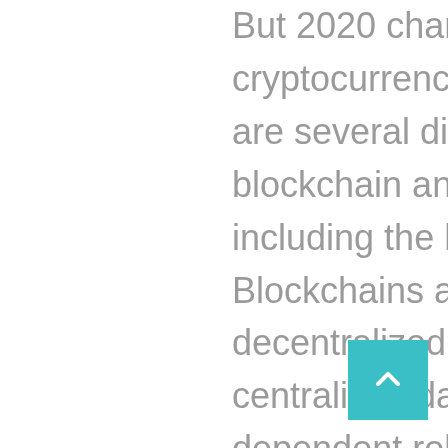But 2020 changed the fortunes of cryptocurrencies yet again. There are several differences between a blockchain and a database, including the level of control. Blockchains are under a decentralized control, whereas a centralized database creates a dependent relationship between users and administrators. Users tend to prefer confidentiality, which is better achieved through a centralized database.
But with the infamous Mt Gox hack, China announcing its first ban on crypto and other situations, it took a further four years for the BTC price to return to above...